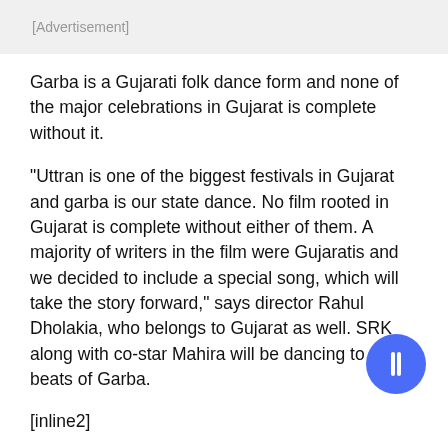[Advertisement]
Garba is a Gujarati folk dance form and none of the major celebrations in Gujarat is complete without it.
“Uttran is one of the biggest festivals in Gujarat and garba is our state dance. No film rooted in Gujarat is complete without either of them. A majority of writers in the film were Gujaratis and we decided to include a special song, which will take the story forward,” says director Rahul Dholakia, who belongs to Gujarat as well. SRK along with co-star Mahira will be dancing to the beats of Garba.
[inline2]
The song has been penned by Javed Akhtar and composed by Ram Sampath. Singers Sukhwinder Singh, Bhoomi Trivedi and Karsan Sagathia have lent their voices.